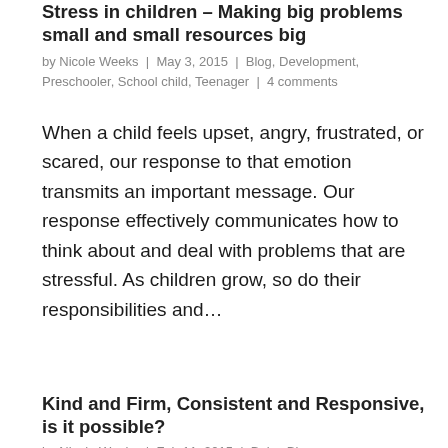Stress in children – Making big problems small and small resources big
by Nicole Weeks | May 3, 2015 | Blog, Development, Preschooler, School child, Teenager | 4 comments
When a child feels upset, angry, frustrated, or scared, our response to that emotion transmits an important message. Our response effectively communicates how to think about and deal with problems that are stressful. As children grow, so do their responsibilities and...
Kind and Firm, Consistent and Responsive, is it possible?
by Nicole Weeks | Feb 11, 2015 | Baby, Blog,